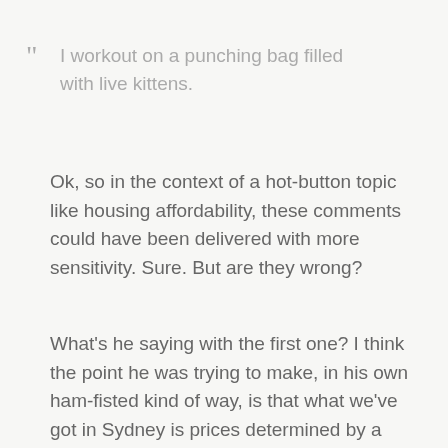“ I workout on a punching bag filled with live kittens.
Ok, so in the context of a hot-button topic like housing affordability, these comments could have been delivered with more sensitivity. Sure. But are they wrong?
What's he saying with the first one? I think the point he was trying to make, in his own ham-fisted kind of way, is that what we've got in Sydney is prices determined by a market system.
The price is set by what people are willing to pay. The government doesn't set the price of